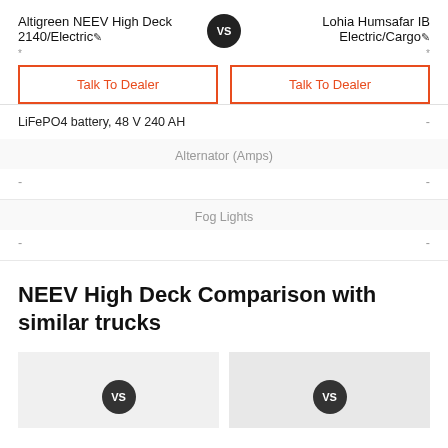Altigreen NEEV High Deck 2140/Electric
Lohia Humsafar IB Electric/Cargo
Talk To Dealer
Talk To Dealer
| LiFePO4 battery, 48 V 240 AH | - |
| Alternator (Amps) |  |
| - | - |
| Fog Lights |  |
| - | - |
NEEV High Deck Comparison with similar trucks
[Figure (other): VS badge card showing vehicle comparison thumbnail]
[Figure (other): VS badge card showing vehicle comparison thumbnail]